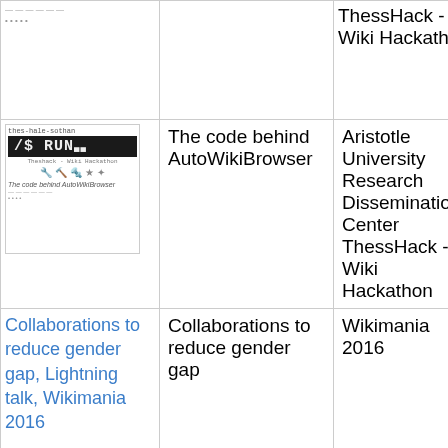| [image] |  | ThessHack - Wiki Hackathon |
| [image: The code behind AutoWikiBrowser thumbnail] | The code behind AutoWikiBrowser | Aristotle University Research Dissemination Center ThessHack - Wiki Hackathon |
| [link: Collaborations to reduce gender gap, Lightning talk, Wikimania 2016] | Collaborations to reduce gender gap | Wikimania 2016 |
|  | AutoWikiBrowser localisation | Wikimania 2016 |
| [link: 2nd Wikipedia Edit-a-thon] | Gender gap on |  |